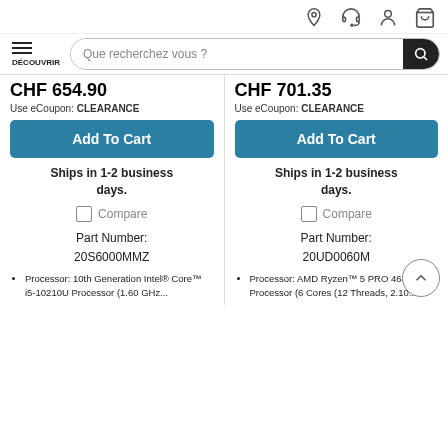Icons: location, headset, user, cart
DÉCOUVRIR | Que recherchez vous ?
CHF 654.90
Use eCoupon: CLEARANCE
CHF 701.35
Use eCoupon: CLEARANCE
Add To Cart
Add To Cart
Ships in 1-2 business days.
Ships in 1-2 business days.
Compare
Compare
Part Number:
20S6000MMZ
Part Number:
20UD0060M
Processor: 10th Generation Intel® Core™ i5-10210U Processor (1.60 GHz...
Processor: AMD Ryzen™ 5 PRO 4650U Processor (6 Cores (12 Threads, 2.10...